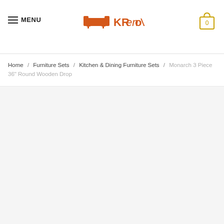MENU | KRenov | 0
Home / Furniture Sets / Kitchen & Dining Furniture Sets / Monarch 3 Piece 36" Round Wooden Drop